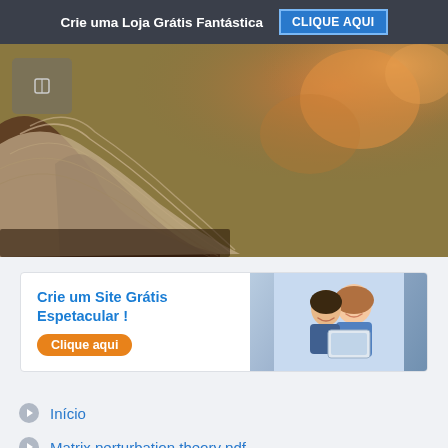Crie uma Loja Grátis Fantástica  CLIQUE AQUI
[Figure (photo): Close-up blurred photo of an open book with pages fanned out, warm bokeh background with orange and olive tones]
[Figure (infographic): Advertisement banner: 'Crie um Site Grátis Espetacular!' with orange 'Clique aqui' button and photo of smiling young couple looking at a tablet]
Início
Matrix perturbation theory pdf